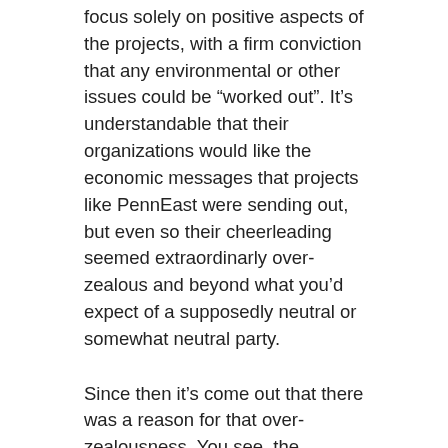focus solely on positive aspects of the projects, with a firm conviction that any environmental or other issues could be “worked out”. It’s understandable that their organizations would like the economic messages that projects like PennEast were sending out, but even so their cheerleading seemed extraordinarly over-zealous and beyond what you’d expect of a supposedly neutral or somewhat neutral party.
Since then it’s come out that there was a reason for that over-zealousness. You see, the aforementioned Thomas Bracken, President and CEO of the NJ Chamber of Commerce, has a connection to the PennEast pipeline that was never disclosed before or during the round table.